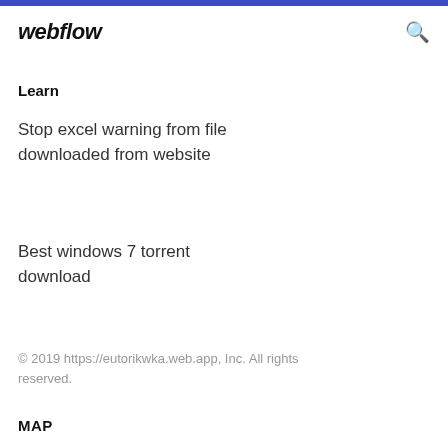webflow
Learn
Stop excel warning from file downloaded from website
Best windows 7 torrent download
© 2019 https://eutorikwka.web.app, Inc. All rights reserved.
MAP